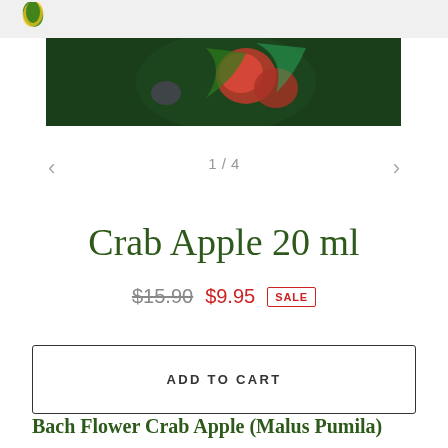[Figure (photo): Close-up photo of red crab apples on a tree with dark green foliage background]
1 / 4
Crab Apple 20 ml
$15.90  $9.95  SALE
ADD TO CART
Bach Flower Crab Apple (Malus Pumila)